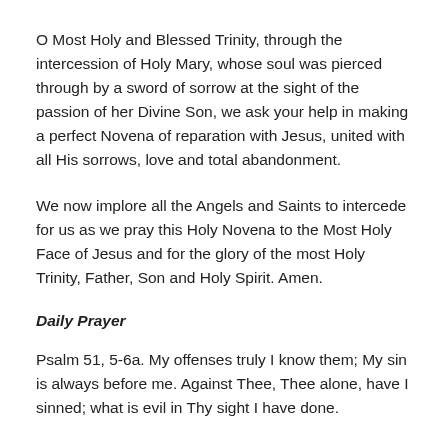O Most Holy and Blessed Trinity, through the intercession of Holy Mary, whose soul was pierced through by a sword of sorrow at the sight of the passion of her Divine Son, we ask your help in making a perfect Novena of reparation with Jesus, united with all His sorrows, love and total abandonment.
We now implore all the Angels and Saints to intercede for us as we pray this Holy Novena to the Most Holy Face of Jesus and for the glory of the most Holy Trinity, Father, Son and Holy Spirit. Amen.
Daily Prayer
Psalm 51, 5-6a. My offenses truly I know them; My sin is always before me. Against Thee, Thee alone, have I sinned; what is evil in Thy sight I have done.